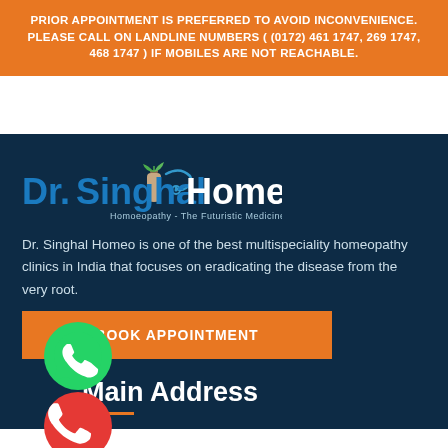PRIOR APPOINTMENT IS PREFERRED TO AVOID INCONVENIENCE. PLEASE CALL ON LANDLINE NUMBERS ( (0172) 461 1747, 269 1747, 468 1747 ) IF MOBILES ARE NOT REACHABLE.
[Figure (logo): Dr. Singhal Homeo logo with blue stylized text, bottle graphic, stethoscope and green plant, subtitle: Homoeopathy - The Futuristic Medicine]
Dr. Singhal Homeo is one of the best multispeciality homeopathy clinics in India that focuses on eradicating the disease from the very root.
BOOK APPOINTMENT
[Figure (illustration): Green WhatsApp phone icon on speech bubble]
[Figure (illustration): Red circular phone icon]
Main Address